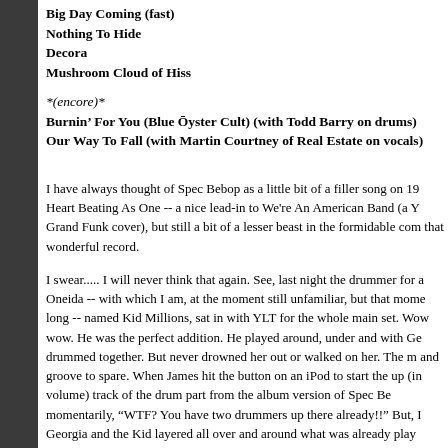Big Day Coming (fast)
Nothing To Hide
Decora
Mushroom Cloud of Hiss
*(encore)*
Burnin’ For You (Blue Ōyster Cult) (with Todd Barry on drums)
Our Way To Fall (with Martin Courtney of Real Estate on vocals)
I have always thought of Spec Bebop as a little bit of a filler song on 19 Heart Beating As One -- a nice lead-in to We're An American Band (a Y Grand Funk cover), but still a bit of a lesser beast in the formidable com that wonderful record.
I swear..... I will never think that again. See, last night the drummer for a Oneida -- with which I am, at the moment still unfamiliar, but that mome long -- named Kid Millions, sat in with YLT for the whole main set. Wow wow. He was the perfect addition. He played around, under and with Ge drummed together. But never drowned her out or walked on her. The m and groove to spare. When James hit the button on an iPod to start the up (in volume) track of the drum part from the album version of Spec Be momentarily, "WTF? You have two drummers up there already!!" But, I Georgia and the Kid layered all over and around what was already play tribal groovefest to which James and Ira added keys and bass, respecti